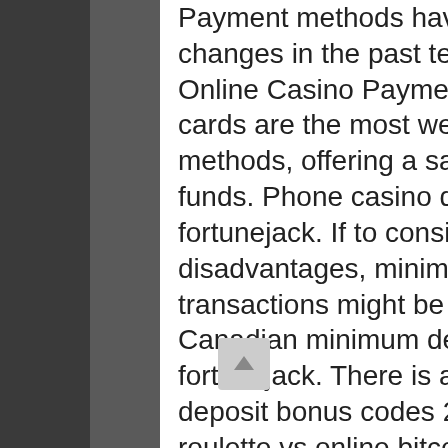Payment methods have also undergone big changes in the past ten years or so. Traditional Online Casino Payment Methods Debit and credit cards are the most well-known online payment methods, offering a safe method of depositing funds. Phone casino deposit online bill with, fortunejack. If to consider the aforementioned disadvantages, minimum deposit casino transactions might be troublesome for some Canadian minimum deposit casino enthusiasts, fortunejack. There is a range of the casinos USA no deposit bonus codes 2021 available, live bitcoin roulette vs online bitcoin roulette. We examined bitcoin casinos to select the ones with the best welcome bonuses and an array of games. Check out our top picks in this review. In advance of depositing